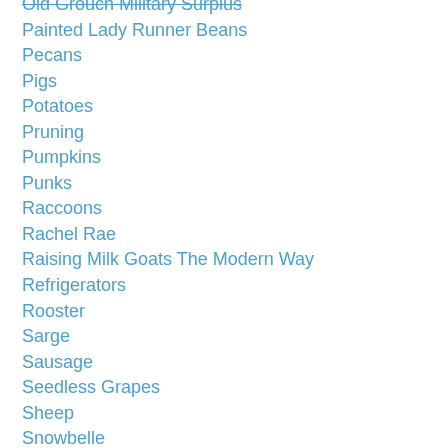Old Grouch Military Surplus
Painted Lady Runner Beans
Pecans
Pigs
Potatoes
Pruning
Pumpkins
Punks
Raccoons
Rachel Rae
Raising Milk Goats The Modern Way
Refrigerators
Rooster
Sarge
Sausage
Seedless Grapes
Sheep
Snowbelle
Snowflake
Soap
Sweet Annie Vs. Not